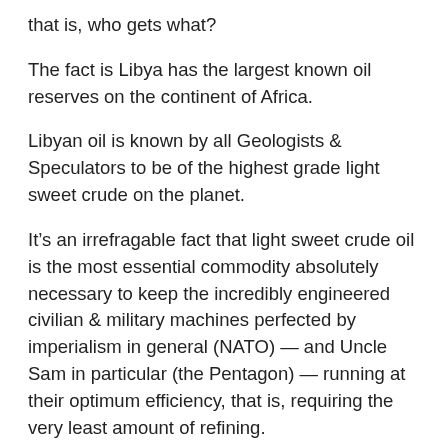that is, who gets what?
The fact is Libya has the largest known oil reserves on the continent of Africa.
Libyan oil is known by all Geologists & Speculators to be of the highest grade light sweet crude on the planet.
It’s an irrefragable fact that light sweet crude oil is the most essential commodity absolutely necessary to keep the incredibly engineered civilian & military machines perfected by imperialism in general (NATO) — and Uncle Sam in particular (the Pentagon) — running at their optimum efficiency, that is, requiring the very least amount of refining.